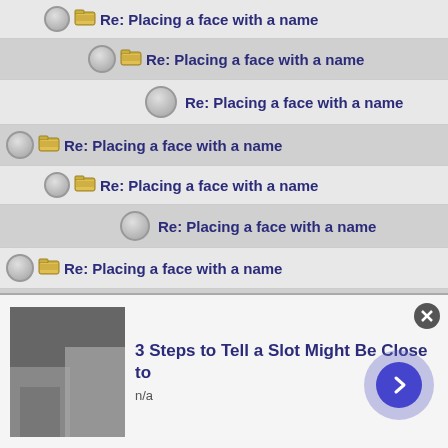Re: Placing a face with a name
Re: Placing a face with a name
Re: Placing a face with a name
Re: Placing a face with a name
Re: Placing a face with a name
Re: Placing a face with a name
Re: Placing a face with a name
Re: Placing a face with a name
Re: Placing a face with a name
Re: Placing a face with a name
Re: Placing a face with a name
Re: Placing a face with a name
[Figure (screenshot): Ad banner: 3 Steps to Tell a Slot Might Be Close to, n/a, with arrow button]